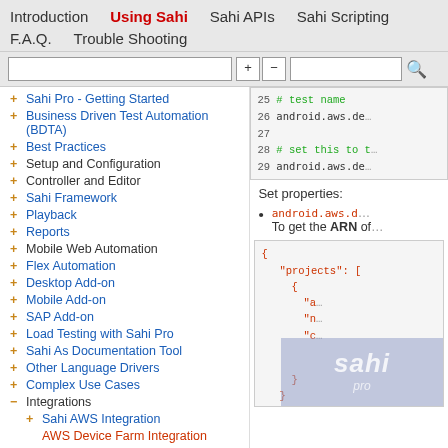Introduction  Using Sahi  Sahi APIs  Sahi Scripting  F.A.Q.  Trouble Shooting
+ Sahi Pro - Getting Started
+ Business Driven Test Automation (BDTA)
+ Best Practices
+ Setup and Configuration
+ Controller and Editor
+ Sahi Framework
+ Playback
+ Reports
+ Mobile Web Automation
+ Flex Automation
+ Desktop Add-on
+ Mobile Add-on
+ SAP Add-on
+ Load Testing with Sahi Pro
+ Sahi As Documentation Tool
+ Other Language Drivers
+ Complex Use Cases
- Integrations
+ Sahi AWS Integration
+ AWS Device Farm Integration
[Figure (screenshot): Code snippet showing lines 25-29 with android.aws.dev properties and comments in green, and a JSON block with projects array showing partial code]
Set properties:
android.aws.d - To get the ARN of